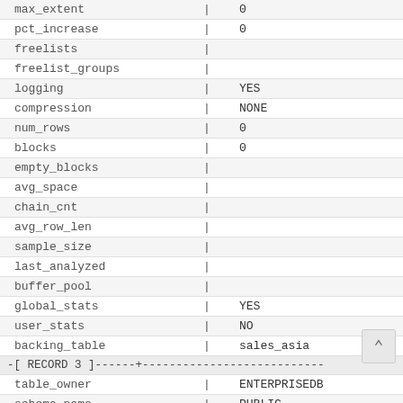| Field | | | Value |
| --- | --- | --- |
| max_extent | | | 0 |
| pct_increase | | | 0 |
| freelists | | |  |
| freelist_groups | | |  |
| logging | | | YES |
| compression | | | NONE |
| num_rows | | | 0 |
| blocks | | | 0 |
| empty_blocks | | |  |
| avg_space | | |  |
| chain_cnt | | |  |
| avg_row_len | | |  |
| sample_size | | |  |
| last_analyzed | | |  |
| buffer_pool | | |  |
| global_stats | | | YES |
| user_stats | | | NO |
| backing_table | | | sales_asia |
| -[ RECORD 3 ]------+--------------------------- |  |  |
| table_owner | | | ENTERPRISEDB |
| schema_name | | | PUBLIC |
| table_name | | | SALES |